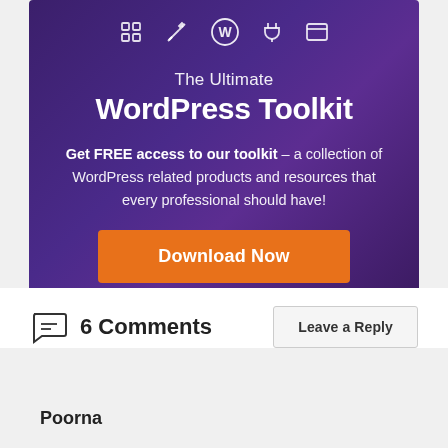[Figure (infographic): WordPress Toolkit promotional banner with dark purple gradient background, five icons at top (grid, tools, WordPress logo, plug, browser), headline 'The Ultimate WordPress Toolkit', descriptive text, and orange Download Now button]
6 Comments
Leave a Reply
Poorna